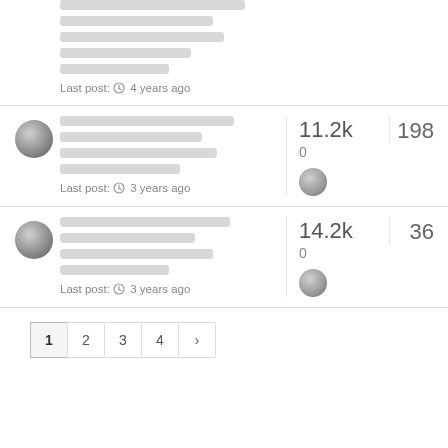Last post: 4 years ago
11.2k
0
198
Last post: 3 years ago
14.2k
0
36
Last post: 3 years ago
1
2
3
4
>